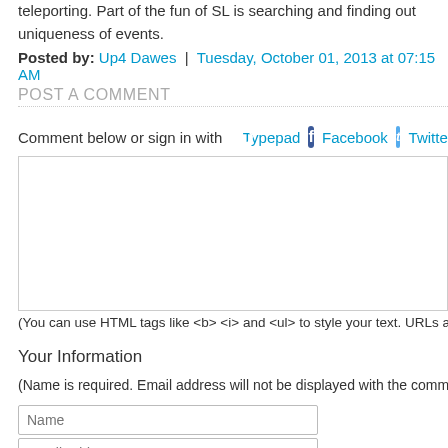teleporting. Part of the fun of SL is searching and finding out uniqueness of events.
Posted by: Up4 Dawes | Tuesday, October 01, 2013 at 07:15 AM
POST A COMMENT
Comment below or sign in with Typepad Facebook Twitter an
[Figure (screenshot): Comment text input textarea, empty]
(You can use HTML tags like <b> <i> and <ul> to style your text. URLs automatica
Your Information
(Name is required. Email address will not be displayed with the comment
Name
Email Address